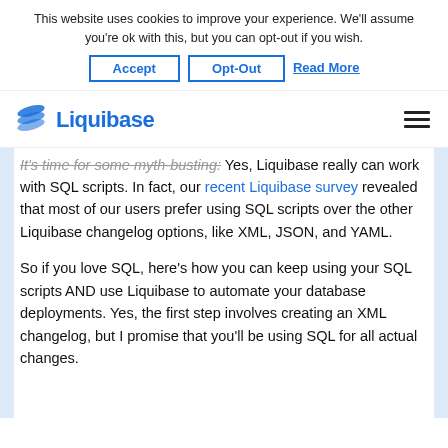This website uses cookies to improve your experience. We'll assume you're ok with this, but you can opt-out if you wish.
Accept | Opt-Out | Read More
Liquibase
It's time for some myth-busting: Yes, Liquibase really can work with SQL scripts. In fact, our recent Liquibase survey revealed that most of our users prefer using SQL scripts over the other Liquibase changelog options, like XML, JSON, and YAML.
So if you love SQL, here's how you can keep using your SQL scripts AND use Liquibase to automate your database deployments. Yes, the first step involves creating an XML changelog, but I promise that you'll be using SQL for all actual changes.